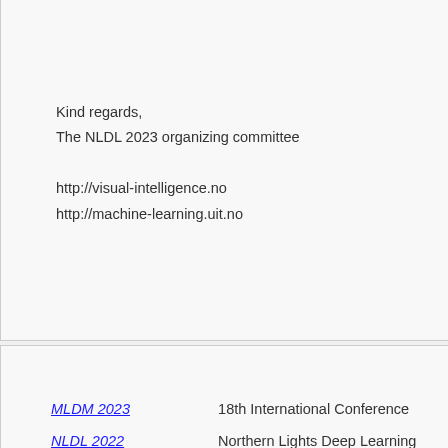Kind regards,
The NLDL 2023 organizing committee

http://visual-intelligence.no
http://machine-learning.uit.no
MLDM 2023   18th International Conference...
NLDL 2022   Northern Lights Deep Learning...
IJCNN 2023   International Joint Conference...
DLTCI 2023   Special Issue on: Deep Learning...
AIAA 2022   12th International Conference...
MDM special issue 2022   MDM special issue...
ECIR 2023   45th European Conference on...
About Us | Contact Us | Data | Privacy Policy | Terms a...
Partners: AI2's Semantic Scholar
This wiki is licensed under a Creative Commons Attribu...